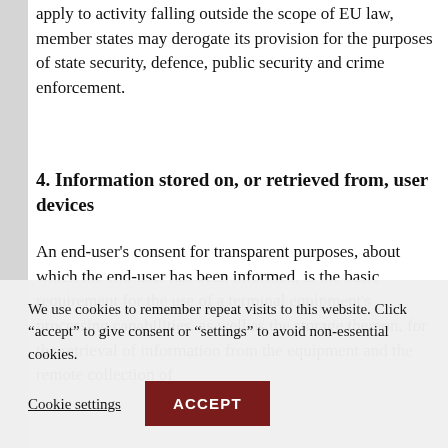apply to activity falling outside the scope of EU law, member states may derogate its provision for the purposes of state security, defence, public security and crime enforcement.
4. Information stored on, or retrieved from, user devices
An end-user's consent for transparent purposes, about which the end-user has been informed, is the basic requirement for the use of a terminal equipment's processing capabilities, as well as the storage thereon, for the retrieval of information from the equipment and the remote collection of
We use cookies to remember repeat visits to this website. Click “accept” to give consent or “settings” to avoid non-essential cookies.